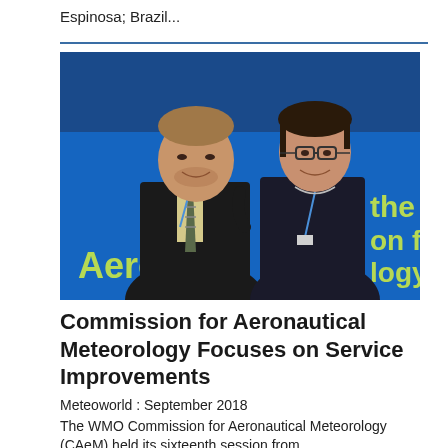Espinosa; Brazil...
[Figure (photo): Two people standing in front of a blue banner with partial text 'Aero', 'the', 'on f', 'logy' visible. A man in a dark suit with a striped tie on the left and a woman in a dark sleeveless dress with glasses on the right.]
Commission for Aeronautical Meteorology Focuses on Service Improvements
Meteoworld : September 2018
The WMO Commission for Aeronautical Meteorology (CAeM) held its sixteenth session from